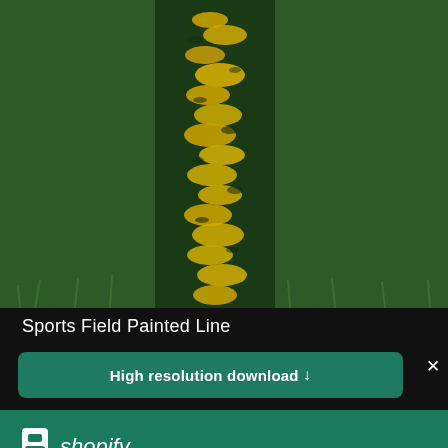[Figure (photo): Close-up photo of green grass sports field with a painted yellow/gold line running vertically through the center]
Sports Field Painted Line
High resolution download ↓
[Figure (logo): Shopify logo with bag icon and italic shopify wordmark]
Need an online store for your business?
Start free trial